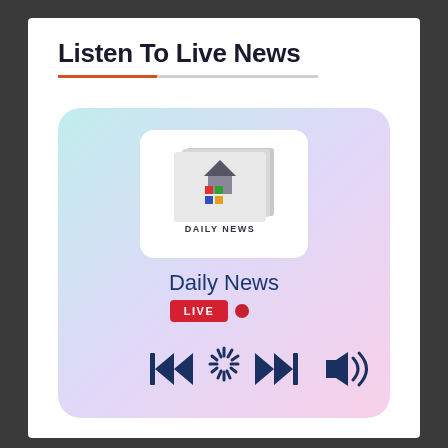Listen To Live News
[Figure (screenshot): A media player card with gradient background (teal to lavender to pink), showing a Daily News logo (newspaper icon with colorful squares and house silhouette), station name 'Daily News', a red LIVE badge with a red dot, and playback controls: skip-back, loading spinner, skip-forward, and volume icons in dark navy blue.]